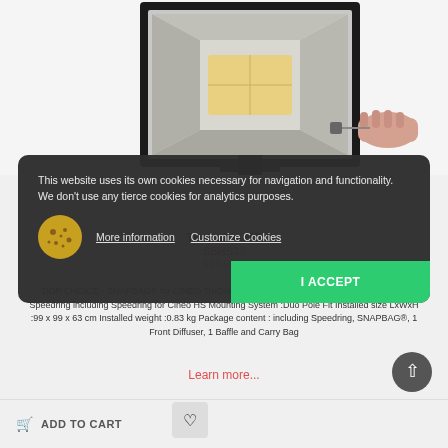[Figure (photo): Photo of a large softbox light modifier open, showing silver interior and LED panel, with a hand pulling a cord. White background.]
This website uses its own cookies necessary for navigation and functionality. We don't use any tierce cookies for analytics purposes.
More information   Customize Cookies
I ACCEPT
TruColor HS
SBHS33
610,00 €
DOP CHOICE - SNAPBAG® for CINEO TruColor HS 1x1 Meter Front Screen with DuoPole Speedring including Speedring for Cineo HS Mounting System :Duo Pole Fit Installed size LxWxH :99 x 99 x 63 cm Installed weight :0.83 kg Package content : including Speedring, SNAPBAG®, 1 Front Diffuser, 1 Baffle and Carry Bag
Learn more...
ADD TO CART